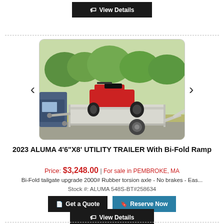[Figure (photo): ATV utility trailer with bi-fold ramp, aluminum construction, parked outdoors on a paved surface with greenery in background]
2023 ALUMA 4'6"X8' UTILITY TRAILER With Bi-Fold Ramp
Price: $3,248.00 | For sale in PEMBROKE, MA
Bi-Fold tailgate upgrade 2000# Rubber torsion axle - No brakes - Eas...
Stock #: ALUMA 548S-BT#258634